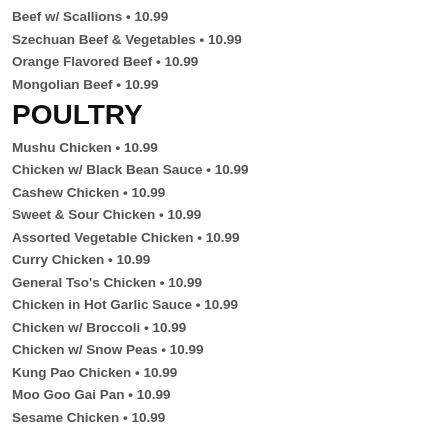Beef w/ Scallions • 10.99
Szechuan Beef & Vegetables • 10.99
Orange Flavored Beef • 10.99
Mongolian Beef • 10.99
POULTRY
Mushu Chicken • 10.99
Chicken w/ Black Bean Sauce • 10.99
Cashew Chicken • 10.99
Sweet & Sour Chicken • 10.99
Assorted Vegetable Chicken • 10.99
Curry Chicken • 10.99
General Tso's Chicken • 10.99
Chicken in Hot Garlic Sauce • 10.99
Chicken w/ Broccoli • 10.99
Chicken w/ Snow Peas • 10.99
Kung Pao Chicken • 10.99
Moo Goo Gai Pan • 10.99
Sesame Chicken • 10.99